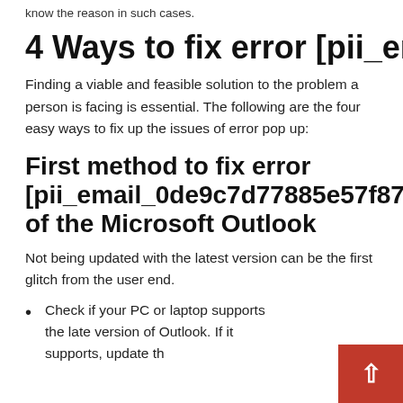know the reason in such cases.
4 Ways to fix error [pii_email_0de9c7d77885e5
Finding a viable and feasible solution to the problem a person is facing is essential. The following are the four easy ways to fix up the issues of error pop up:
First method to fix error [pii_email_0de9c7d77885e57f870 of the Microsoft Outlook
Not being updated with the latest version can be the first glitch from the user end.
Check if your PC or laptop supports the latest version of Outlook. If it supports, update the